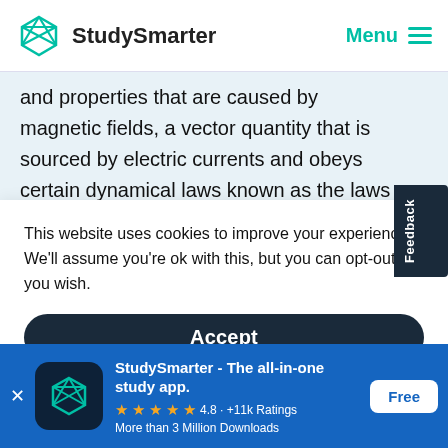StudySmarter  Menu
and properties that are caused by magnetic fields, a vector quantity that is sourced by electric currents and obeys certain dynamical laws known as the laws of electromagnetism or Maxwell's laws
This website uses cookies to improve your experience. We'll assume you're ok with this, but you can opt-out if you wish.
Accept
created by a magnet, the intensity of which
StudySmarter - The all-in-one study app.  4.8 · +11k Ratings  More than 3 Million Downloads  Free